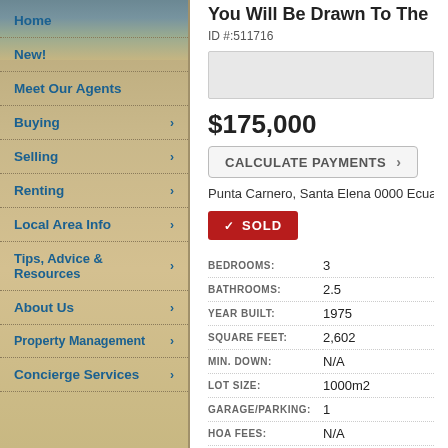Home
New!
Meet Our Agents
Buying
Selling
Renting
Local Area Info
Tips, Advice & Resources
About Us
Property Management
Concierge Services
You Will Be Drawn To The H...
ID #:511716
[Figure (photo): Property photo placeholder]
$175,000
CALCULATE PAYMENTS ›
Punta Carnero, Santa Elena 0000 Ecuador
SOLD
| Attribute | Value |
| --- | --- |
| BEDROOMS: | 3 |
| BATHROOMS: | 2.5 |
| YEAR BUILT: | 1975 |
| SQUARE FEET: | 2,602 |
| MIN. DOWN: | N/A |
| LOT SIZE: | 1000m2 |
| GARAGE/PARKING: | 1 |
| HOA FEES: | N/A |
| FLOORS: | 2 |
| PROPERTY TYPE: | Single Family (Detached) |
| SALE TYPE: | Resale |